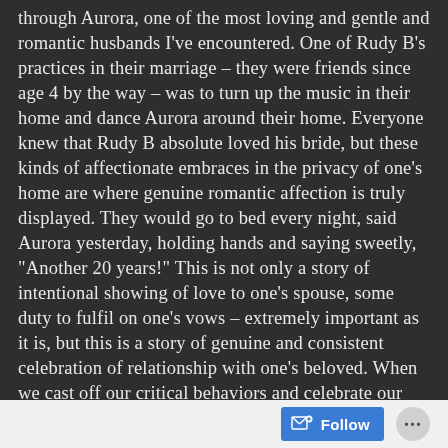through Aurora, one of the most loving and gentle and romantic husbands I've encountered. One of Rudy B's practices in their marriage – they were friends since age 4 by the way – was to turn up the music in their home and dance Aurora around their home. Everyone knew that Rudy B absolute loved his bride, but these kinds of affectionate embraces in the privacy of one's home are where genuine romantic affection is truly displayed. They would go to bed every night, said Aurora yesterday, holding hands and saying sweetly, "Another 20 years!" This is not only a story of intentional showing of love to one's spouse, some duty to fulfil on one's vows – extremely important as it is, but this is a story of genuine and consistent celebration of relationship with one's beloved. When we cast off our critical behaviors and celebrate our beloved, love grows more consistently and even with a reckless joy. That is part of the nature of eros love, friends! You know this. But, this Valentine's day, remember to let your love spill over a bit and let yourself lean into the celebratory side of romantic love. Don't try to be the polished lover so much as the celebrating lover, who let's love be genuine and lasting, not so much a performance.
Follow ...